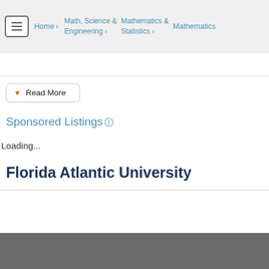Home > Math, Science & Engineering > Mathematics & Statistics > Mathematics
▼ Read More
Sponsored Listings ?
Loading...
Florida Atlantic University